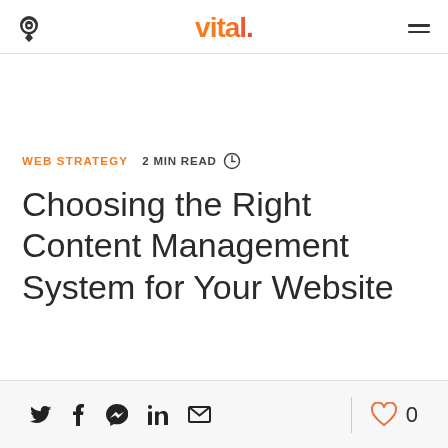vital.
WEB STRATEGY   2 MIN READ
Choosing the Right Content Management System for Your Website
Social share icons: Twitter, Facebook, Messenger, LinkedIn, Email | Like: 0